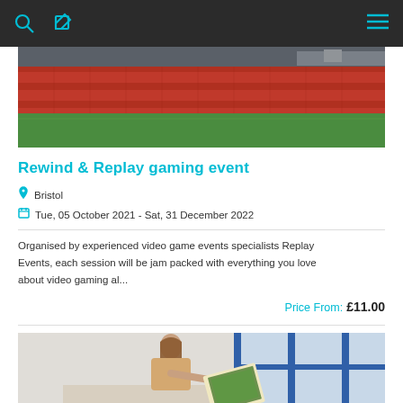[navigation bar with search, edit, and menu icons]
[Figure (photo): Stadium with red seats and green pitch, viewed from the stands]
Rewind & Replay gaming event
Bristol
Tue, 05 October 2021 - Sat, 31 December 2022
Organised by experienced video game events specialists Replay Events, each session will be jam packed with everything you love about video gaming al...
Price From:  £11.00
[Figure (photo): A person painting or drawing on a canvas/notebook, with blue window frames in background]